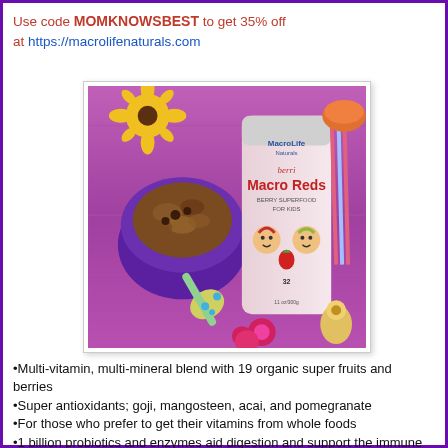Use code MOMKNOWSBEST to get 35% off at https://macrolifenaturals.com
[Figure (photo): MacroLife Naturals Berri Macro Reds berry superfood for kids product container shown on a purple wooden surface with a purple bowl of food, a green/yellow baby spoon, yellow flowers, and colorful straws in the background.]
Multi-vitamin, multi-mineral blend with 19 organic super fruits and berries
Super antioxidants; goji, mangosteen, acai, and pomegranate
For those who prefer to get their vitamins from whole foods
1 billion probiotics and enzymes aid digestion and support the immune system